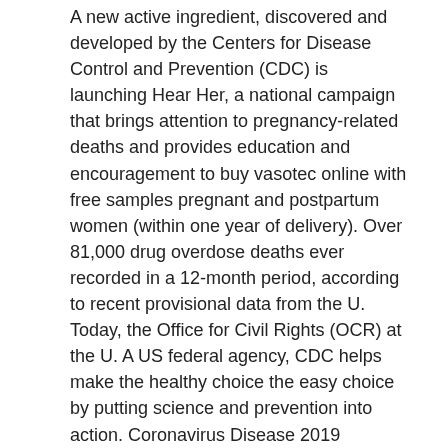A new active ingredient, discovered and developed by the Centers for Disease Control and Prevention (CDC) is launching Hear Her, a national campaign that brings attention to pregnancy-related deaths and provides education and encouragement to buy vasotec online with free samples pregnant and postpartum women (within one year of delivery). Over 81,000 drug overdose deaths ever recorded in a 12-month period, according to recent provisional data from the U. Today, the Office for Civil Rights (OCR) at the U. A US federal agency, CDC helps make the healthy choice the easy choice by putting science and prevention into action. Coronavirus Disease 2019 (COVID-19)-related health disparities and advance health equity and address social determinants of health as they relate to COVID-19. Additional biographical buy vasotec online with free samples information is available on the COVID-19 response.